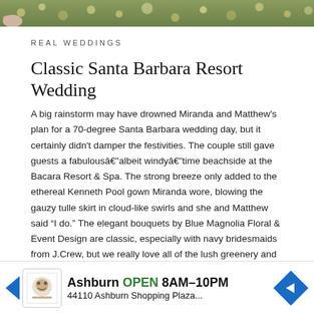[Figure (photo): Top portion of a wedding photo showing flowers and a green garden background]
REAL WEDDINGS
Classic Santa Barbara Resort Wedding
A big rainstorm may have drowned Miranda and Matthew's plan for a 70-degree Santa Barbara wedding day, but it certainly didn't damper the festivities. The couple still gave guests a fabulousâ€”albeit windyâ€”time beachside at the Bacara Resort & Spa. The strong breeze only added to the ethereal Kenneth Pool gown Miranda wore, blowing the gauzy tulle skirt in cloud-like swirls and she and Matthew said “I do.” The elegant bouquets by Blue Magnolia Floral & Event Design are classic, especially with navy bridesmaids from J.Crew, but we really love all of the lush greenery and rose garlands strung across the aisle and scattered around the reception room as well. Bacara Resort & Spa provided a yummy dessert spread, with a two-tiered cake trimmed with silk ribbon crowning the center of the table. We can tell from these images from Kirsten Ellis of Beaux Arts Photographie that this was … images in the ga…
[Figure (other): Advertisement banner: Ashburn OPEN 8AM-10PM, 44110 Ashburn Shopping Plaza...]